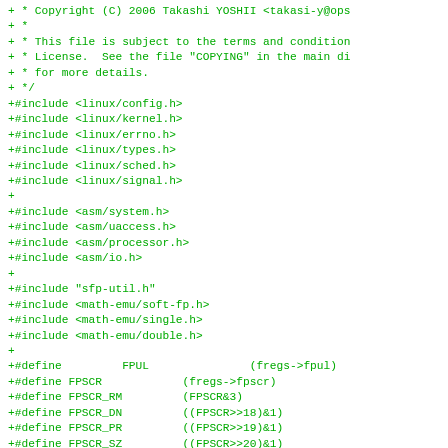+ * Copyright (C) 2006 Takashi YOSHII <takasi-y@ops...
+ *
+ * This file is subject to the terms and condition...
+ * License.  See the file "COPYING" in the main di...
+ * for more details.
+ */
+#include <linux/config.h>
+#include <linux/kernel.h>
+#include <linux/errno.h>
+#include <linux/types.h>
+#include <linux/sched.h>
+#include <linux/signal.h>
+
+#include <asm/system.h>
+#include <asm/uaccess.h>
+#include <asm/processor.h>
+#include <asm/io.h>
+
+#include "sfp-util.h"
+#include <math-emu/soft-fp.h>
+#include <math-emu/single.h>
+#include <math-emu/double.h>
+
+#define         FPUL               (fregs->fpul)
+#define FPSCR            (fregs->fpscr)
+#define FPSCR_RM         (FPSCR&3)
+#define FPSCR_DN         ((FPSCR>>18)&1)
+#define FPSCR_PR         ((FPSCR>>19)&1)
+#define FPSCR_SZ         ((FPSCR>>20)&1)
+#define FPSCR_FR         ((FPSCR>>21)&1)